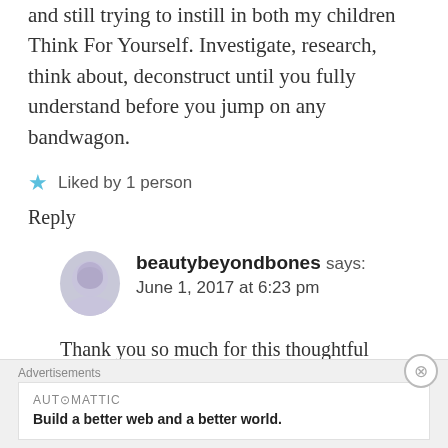and still trying to instill in both my children Think For Yourself. Investigate, research, think about, deconstruct until you fully understand before you jump on any bandwagon.
Liked by 1 person
Reply
beautybeyondbones says: June 1, 2017 at 6:23 pm
Thank you so much for this thoughtful response. you're so
Advertisements
AUTOMATTIC
Build a better web and a better world.